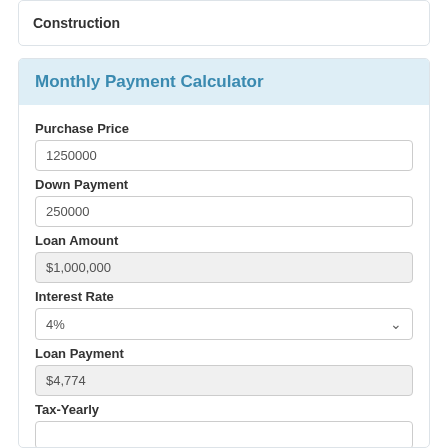Construction
Monthly Payment Calculator
Purchase Price
1250000
Down Payment
250000
Loan Amount
$1,000,000
Interest Rate
4%
Loan Payment
$4,774
Tax-Yearly